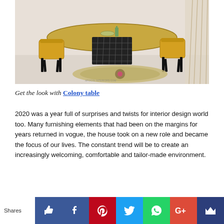[Figure (photo): Modern oval dining table with black mesh pedestal base, surrounded by yellow chairs, with a decorative rug underneath, in a minimalist room setting.]
Get the look with Colony table
2020 was a year full of surprises and twists for interior design world too. Many furnishing elements that had been on the margins for years returned in vogue, the house took on a new role and became the focus of our lives. The constant trend will be to create an increasingly welcoming, comfortable and tailor-made environment.
Shares [like] [facebook] [pinterest] [twitter] [whatsapp] [google+] [crown]